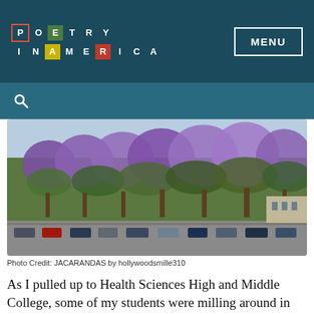[Figure (logo): Poetry In America colorful block logo with colored square letter tiles]
MENU
[Figure (photo): Street lined with jacaranda trees in full purple bloom, with parked cars visible and a clear sky]
Photo Credit: JACARANDAS by hollywoodsmille310
As I pulled up to Health Sciences High and Middle College, some of my students were milling around in small groups, nudging each